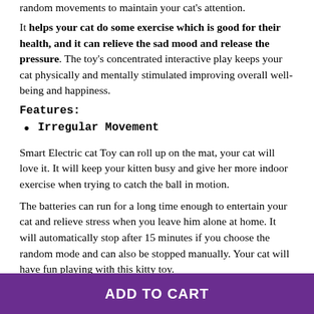random movements to maintain your cat's attention. It helps your cat do some exercise which is good for their health, and it can relieve the sad mood and release the pressure. The toy's concentrated interactive play keeps your cat physically and mentally stimulated improving overall well-being and happiness.
Features:
Irregular Movement
Smart Electric cat Toy can roll up on the mat, your cat will love it. It will keep your kitten busy and give her more indoor exercise when trying to catch the ball in motion.
The batteries can run for a long time enough to entertain your cat and relieve stress when you leave him alone at home. It will automatically stop after 15 minutes if you choose the random mode and can also be stopped manually. Your cat will have fun playing with this kitty toy.
ADD TO CART